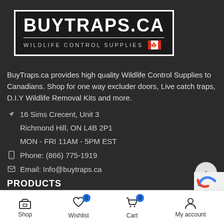[Figure (logo): BuyTraps.ca logo with dark background, white bold text 'BUYTRAPS.CA', horizontal rule, and subtitle 'WILDLIFE CONTROL SUPPLIES' with Canadian flag icon]
BuyTraps.ca provides high quality Wildlife Control Supplies to Canadians. Shop for one way excluder doors, Live catch traps, D.I.Y Wildlife Removal Kits and more.
16 Sims Crecent, Unit 3
Richmond Hill, ON L4B 2P1
MON - FRI 11AM - 5PM EST
Phone: (866) 775-1919
Email: Info@buytraps.ca
PRODUCTS
All Products
[Figure (screenshot): Bottom navigation bar with Shop, Wishlist (badge 0), Cart (badge 0), My account icons]